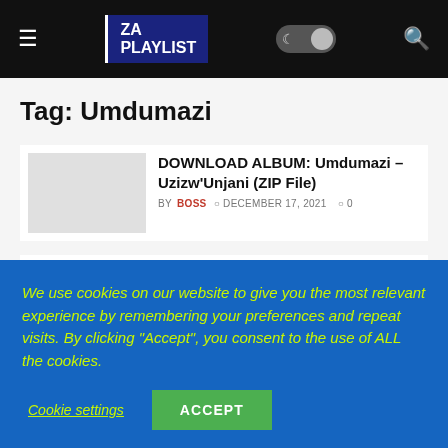ZA PLAYLIST
Tag: Umdumazi
DOWNLOAD ALBUM: Umdumazi – Uzizw'Unjani (ZIP File)
BY BOSS  DECEMBER 17, 2021  0
DOWNLOAD: Umdumazi – Fihla Sibali (MP3)
BY BOSS  DECEMBER 16, 2021  0
We use cookies on our website to give you the most relevant experience by remembering your preferences and repeat visits. By clicking "Accept", you consent to the use of ALL the cookies.
Cookie settings  ACCEPT